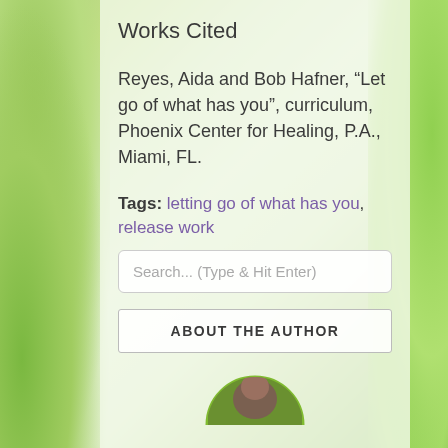Works Cited
Reyes, Aida and Bob Hafner, “Let go of what has you”, curriculum, Phoenix Center for Healing, P.A., Miami, FL.
Tags: letting go of what has you, release work
Search... (Type & Hit Enter)
ABOUT THE AUTHOR
[Figure (photo): Partial circular author photo at bottom of page]